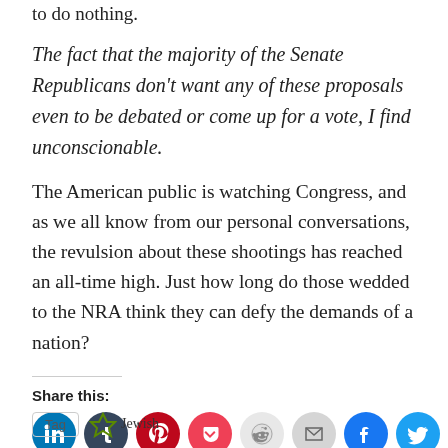to do nothing.
The fact that the majority of the Senate Republicans don't want any of these proposals even to be debated or come up for a vote, I find unconscionable.
The American public is watching Congress, and as we all know from our personal conversations, the revulsion about these shootings has reached an all-time high. Just how long do those wedded to the NRA think they can defy the demands of a nation?
Share this:
[Figure (infographic): Share icons row: LinkedIn (blue circle), Tumblr (dark circle), Pinterest (red circle), Pocket (pink circle), Reddit (light grey circle), Email (grey circle), Facebook (blue circle), Twitter (teal circle), More button]